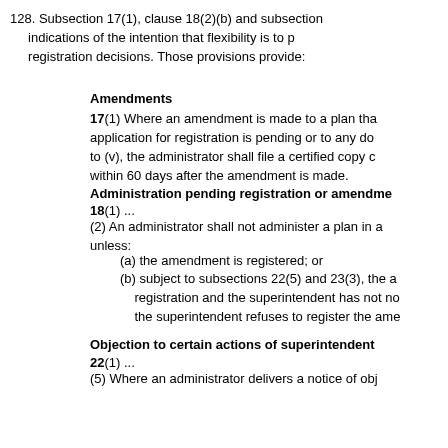128. Subsection 17(1), clause 18(2)(b) and subsection indications of the intention that flexibility is to p registration decisions. Those provisions provide:
Amendments
17(1) Where an amendment is made to a plan tha application for registration is pending or to any do to (v), the administrator shall file a certified copy within 60 days after the amendment is made.
Administration pending registration or amendme
18(1) ...
(2) An administrator shall not administer a plan in unless:
(a) the amendment is registered; or
(b) subject to subsections 22(5) and 23(3), the a registration and the superintendent has not no the superintendent refuses to register the ame
Objection to certain actions of superintendent
22(1) ...
(5) Where an administrator delivers a notice of obj